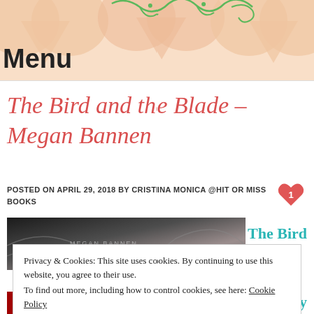[Figure (illustration): Blog header with peach/salmon heart shapes and green vine/swirl decoration on peach background]
Menu
The Bird and the Blade – Megan Bannen
POSTED ON APRIL 29, 2018 BY CRISTINA MONICA @HIT OR MISS BOOKS
[Figure (photo): Dark moody book cover photo partially visible]
The Bird
Privacy & Cookies: This site uses cookies. By continuing to use this website, you agree to their use.
To find out more, including how to control cookies, see here: Cookie Policy
Close and accept
[Figure (photo): Red book cover partially visible at bottom]
My